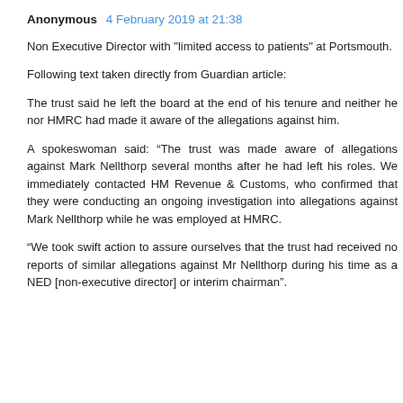Anonymous   4 February 2019 at 21:38
Non Executive Director with "limited access to patients" at Portsmouth.
Following text taken directly from Guardian article:
The trust said he left the board at the end of his tenure and neither he nor HMRC had made it aware of the allegations against him.
A spokeswoman said: “The trust was made aware of allegations against Mark Nellthorp several months after he had left his roles. We immediately contacted HM Revenue & Customs, who confirmed that they were conducting an ongoing investigation into allegations against Mark Nellthorp while he was employed at HMRC.
“We took swift action to assure ourselves that the trust had received no reports of similar allegations against Mr Nellthorp during his time as a NED [non-executive director] or interim chairman".